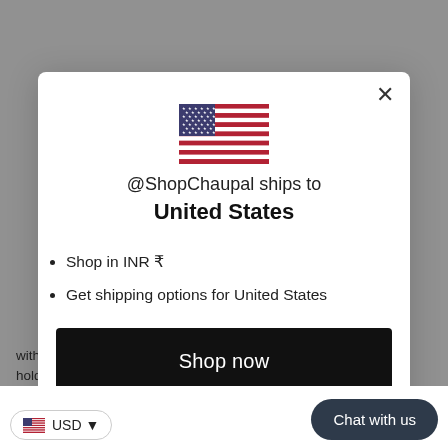[Figure (illustration): US flag emoji/icon centered at top of modal dialog]
@ShopChaupal ships to United States
Shop in INR ₹
Get shipping options for United States
Shop now
Change shipping coun…
[Figure (illustration): US flag icon with USD currency selector pill at bottom left]
USD
Chat with us
with Bottom layer on araNNal Kannadi and hold it in a slanting position allowing the dust and other